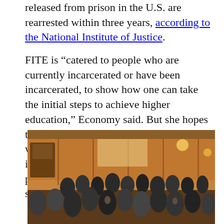released from prison in the U.S. are rearrested within three years, according to the National Institute of Justice.
FITE is “catered to people who are currently incarcerated or have been incarcerated, to show how one can take the initial steps to achieve higher education,” Economy said. But she hopes the film reaches a broader audience as well, to demonstrate to the public “why it’s important to have people with these pasts in higher education. It shouldn’t be stigma.”
[Figure (photo): A crowd of people gathered in a wood-paneled room with warm lighting, appearing to be at a reception or event.]